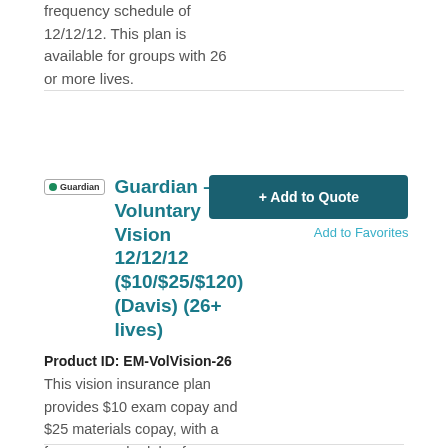frequency schedule of 12/12/12. This plan is available for groups with 26 or more lives.
Guardian – Voluntary Vision 12/12/12 ($10/$25/$120) (Davis) (26+ lives)
Product ID: EM-VolVision-26
This vision insurance plan provides $10 exam copay and $25 materials copay, with a frequency schedule of 12/12/12. This plan is available for groups with 26 or more lives.